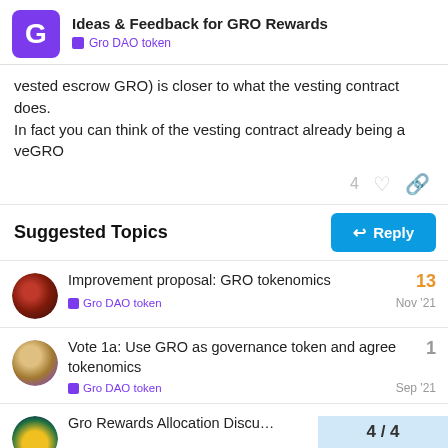Ideas & Feedback for GRO Rewards — Gro DAO token
vested escrow GRO) is closer to what the vesting contract does. In fact you can think of the vesting contract already being a veGRO
4 ♡ 🔗
Suggested Topics
Improvement proposal: GRO tokenomics — Gro DAO token — Nov '21 — 13 replies
Vote 1a: Use GRO as governance token and agree tokenomics — Gro DAO token — Sep '21 — 1 reply
Gro Rewards Allocation Discu… — 4 / 4